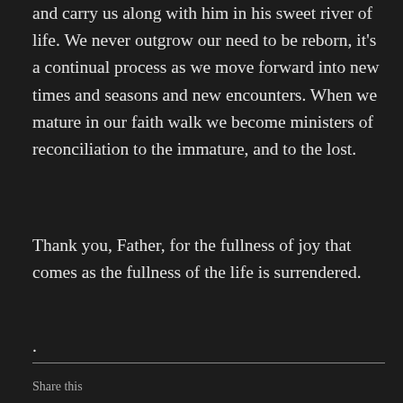and carry us along with him in his sweet river of life. We never outgrow our need to be reborn, it's a continual process as we move forward into new times and seasons and new encounters. When we mature in our faith walk we become ministers of reconciliation to the immature, and to the lost.
Thank you, Father, for the fullness of joy that comes as the fullness of the life is surrendered.
.
Share this